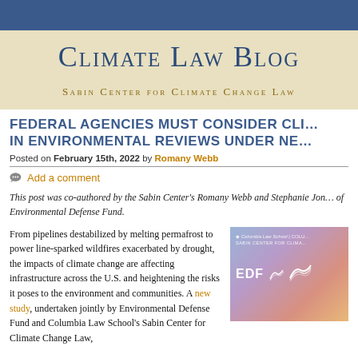Climate Law Blog
Sabin Center for Climate Change Law
FEDERAL AGENCIES MUST CONSIDER CLI... IN ENVIRONMENTAL REVIEWS UNDER NE...
Posted on February 15th, 2022 by Romany Webb
Add a comment
This post was co-authored by the Sabin Center's Romany Webb and Stephanie Jon... of Environmental Defense Fund.
From pipelines destabilized by melting permafrost to power line-sparked wildfires exacerbated by drought, the impacts of climate change are affecting infrastructure across the U.S. and heightening the risks it poses to the environment and communities. A new study, undertaken jointly by Environmental Defense Fund and Columbia Law School's Sabin Center for Climate Change Law,
[Figure (logo): Columbia Law School / Sabin Center for Climate Change Law and EDF logos on gradient background (blue to pink to orange)]